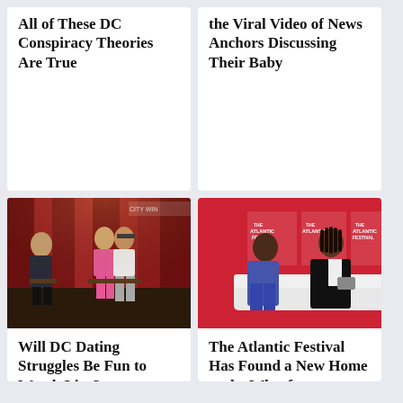All of These DC Conspiracy Theories Are True
the Viral Video of News Anchors Discussing Their Baby
[Figure (photo): People on stage at City Winery event, couple kissing while blindfolded, host watching]
Will DC Dating Struggles Be Fun to Watch Live?
[Figure (photo): Two people seated on stage at The Atlantic Festival, having a conversation]
The Atlantic Festival Has Found a New Home at the Wharf